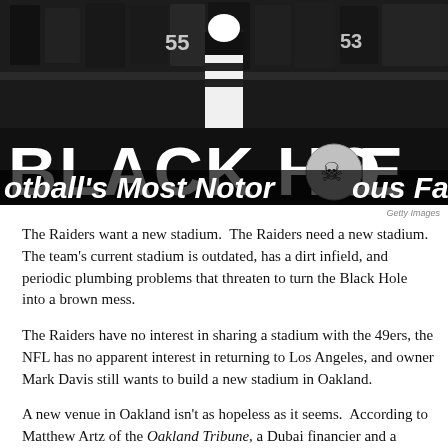[Figure (photo): Oakland Raiders fans in the Black Hole section holding a banner that reads 'BLACK HOLE' with text below reading 'otball's Most Notorious Fan'. Fans are dressed in black and silver. A referee in black and white stripes stands in the foreground.]
Getty Images
The Raiders want a new stadium.  The Raiders need a new stadium.  The team's current stadium is outdated, has a dirt infield, and periodic plumbing problems that threaten to turn the Black Hole into a brown mess.
The Raiders have no interest in sharing a stadium with the 49ers, the NFL has no apparent interest in returning to Los Angeles, and owner Mark Davis still wants to build a new stadium in Oakland.
A new venue in Oakland isn't as hopeless as it seems.  According to Matthew Artz of the Oakland Tribune, a Dubai financier and a